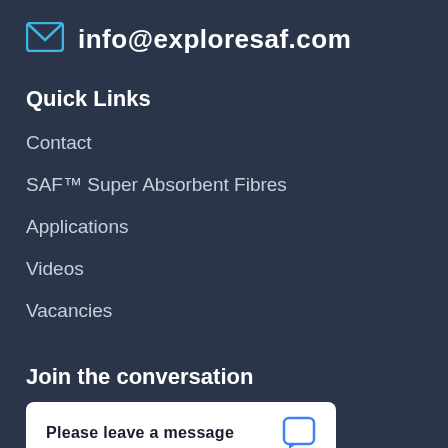info@exploresaf.com
Quick Links
Contact
SAF™ Super Absorbent Fibres
Applications
Videos
Vacancies
Join the conversation
Please leave a message